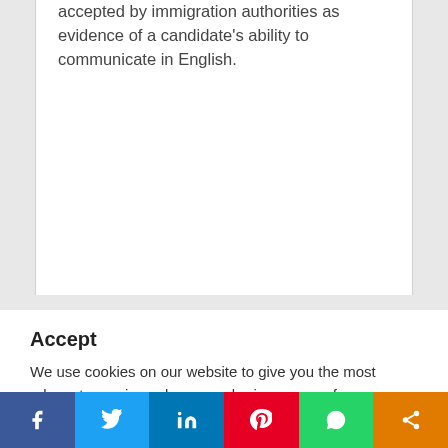accepted by immigration authorities as evidence of a candidate's ability to communicate in English.
Accept
We use cookies on our website to give you the most relevant experience by remembering your preferences and repeat visits. By clicking "Accept All", you consent to the use of ALL the cookies. However, you may visit "Cookie Settings" to provide a controlled consent.
[Figure (other): Cookie consent buttons: Cookie Settings (gray) and Accept All (green)]
[Figure (other): Social sharing bar with Facebook, Twitter, LinkedIn, Pinterest, WhatsApp, and share icons]